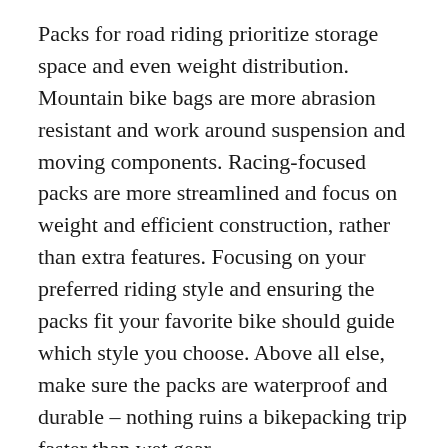Packs for road riding prioritize storage space and even weight distribution. Mountain bike bags are more abrasion resistant and work around suspension and moving components. Racing-focused packs are more streamlined and focus on weight and efficient construction, rather than extra features. Focusing on your preferred riding style and ensuring the packs fit your favorite bike should guide which style you choose. Above all else, make sure the packs are waterproof and durable – nothing ruins a bikepacking trip faster than wet gear.
In the bikepacking world, seam welding tends to be the gold standard for waterproofing. Bag shapes and designs are difficult to tape and stitched constructions usually lead to water seeping in under sustained rain.